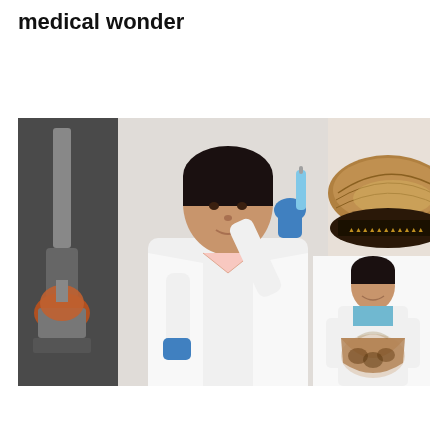medical wonder
[Figure (photo): Composite photo showing a female scientist in a white lab coat holding a blue vial with blue gloves in a laboratory setting with distillation equipment. On the right side, a large sea mussel/shell is visible on top, and a smaller image of the same woman smiling and holding a bag of mussels. The background is white/light.]